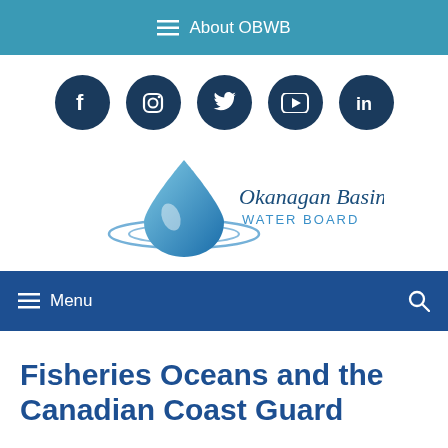About OBWB
[Figure (other): Social media icons row: Facebook, Instagram, Twitter, YouTube, LinkedIn — dark blue circles with white icons]
[Figure (logo): Okanagan Basin Water Board logo — blue water droplet with ripple and text 'Okanagan Basin WATER BOARD']
Menu
Fisheries Oceans and the Canadian Coast Guard